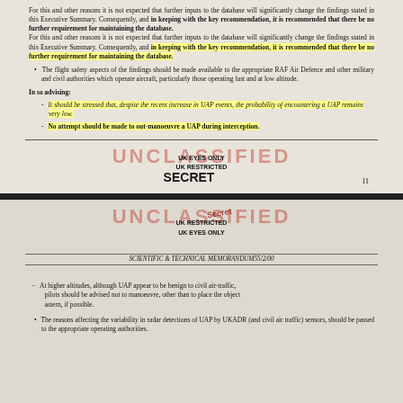For this and other reasons it is not expected that further inputs to the database will significantly change the findings stated in this Executive Summary. Consequently, and in keeping with the key recommendation, it is recommended that there be no further requirement for maintaining the database.
The flight safety aspects of the findings should be made available to the appropriate RAF Air Defence and other military and civil authorities which operate aircraft, particularly those operating fast and at low altitude.
In so advising:
It should be stressed that, despite the recent increase in UAP events, the probability of encountering a UAP remains very low.
No attempt should be made to out-manoeuvre a UAP during interception.
UK EYES ONLY
UK RESTRICTED
SECRET
11
UK RESTRICTED
UK EYES ONLY
SCIENTIFIC & TECHNICAL MEMORANDUM55/2/00
At higher altitudes, although UAP appear to be benign to civil air-traffic, pilots should be advised not to manoeuvre, other than to place the object astern, if possible.
The reasons affecting the variability in radar detections of UAP by UKADR (and civil air traffic) sensors, should be passed to the appropriate operating authorities.